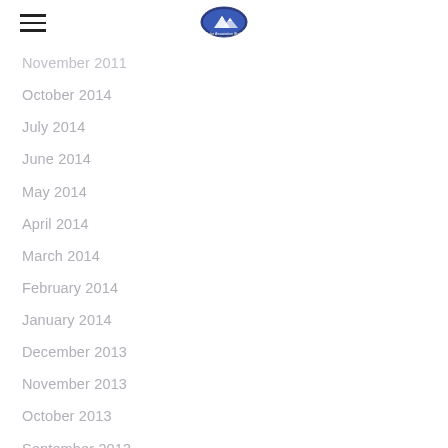Lake Association (logo)
November 2011
October 2014
July 2014
June 2014
May 2014
April 2014
March 2014
February 2014
January 2014
December 2013
November 2013
October 2013
September 2013
August 2013
July 2013
June 2013
May 2013
April 2013